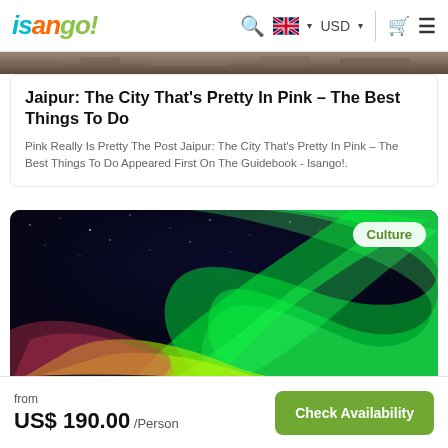isango! [navigation: search, UK flag, USD, cart, menu]
[Figure (photo): Top cropped image strip showing rocky/snowy landscape]
Jaipur: The City That's Pretty In Pink – The Best Things To Do
Pink Really Is Pretty The Post Jaipur: The City That's Pretty In Pink – The Best Things To Do Appeared First On The Guidebook - Isango!.
[Figure (photo): Aurora borealis (northern lights) photo showing green and yellow-red light swirls against a dark starry sky, with a 'Culture' badge in the top right]
from US$ 190.00 /Person
Check Availability